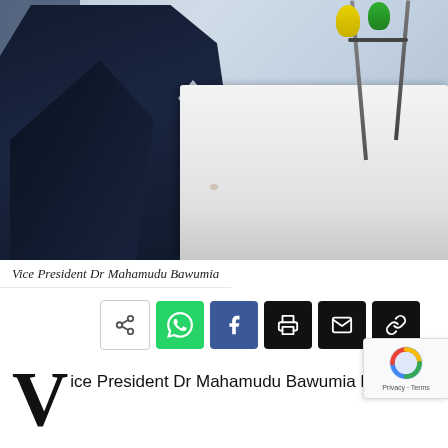[Figure (photo): Vice President Dr Mahamudu Bawumia speaking at a podium with microphones, wearing a dark suit and purple/lavender tie]
Vice President Dr Mahamudu Bawumia
[Figure (infographic): Social media share buttons row: generic share, WhatsApp, Facebook, Print, Email, Link/Copy]
ice President Dr Mahamudu Bawumia has